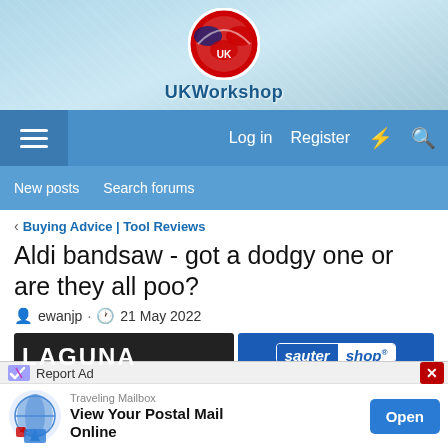[Figure (logo): UKWorkshop logo with circular emblem and text 'UKWorkshop' on light blue hatched background]
Log in  Register
New posts  Search forums
< Buying Advice | Tool Reviews
Aldi bandsaw - got a dodgy one or are they all poo?
ewanjp · 21 May 2022
[Figure (photo): Laguna branded table saw advertisement on dark background]
[Figure (photo): Sauter Shop advertisement - offering woodworkers the highest quality tools, jigs and accessories from leading manufacturers. www.sautershop.com]
Report Ad
[Figure (screenshot): Traveling Mailbox ad - View Your Postal Mail Online - Open button]